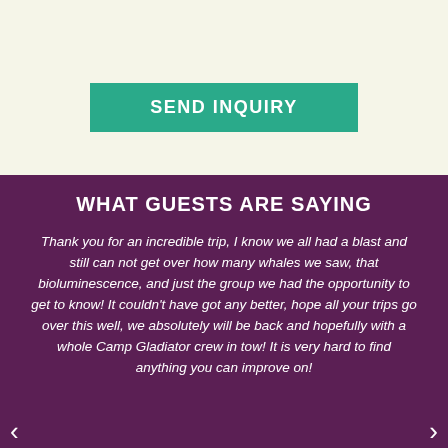[Figure (screenshot): Teal/green 'SEND INQUIRY' button on a cream/off-white background]
WHAT GUESTS ARE SAYING
Thank you for an incredible trip, I know we all had a blast and still can not get over how many whales we saw, that bioluminescence, and just the group we had the opportunity to get to know! It couldn't have got any better, hope all your trips go over this well, we absolutely will be back and hopefully with a whole Camp Gladiator crew in tow! It is very hard to find anything you can improve on!